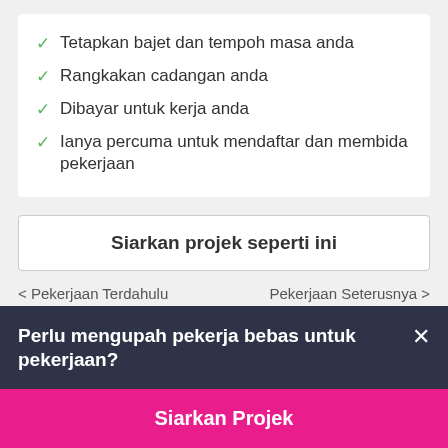Tetapkan bajet dan tempoh masa anda
Rangkakan cadangan anda
Dibayar untuk kerja anda
Ianya percuma untuk mendaftar dan membida pekerjaan
Siarkan projek seperti ini
< Pekerjaan Terdahulu
Pekerjaan Seterusnya >
Perlu mengupah pekerja bebas untuk pekerjaan?
Siarkan Projek